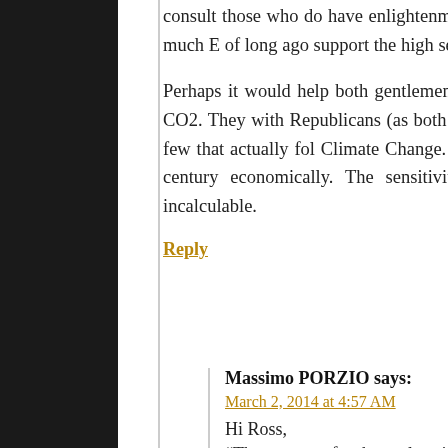consult those who do have enlightenment without comp integrity. They can see for themselves just how much E of long ago support the high sensitivity scale.
Perhaps it would help both gentlemen to inquire of good who accept the science of high sensitivity of CO2. They with Republicans (as both Spencer and Christy are very persuasion). And talk to the faithful few that actually fol Climate Change. These Republican's clearly state we are into the latter part of this century economically. The sensitivity result and its effects on the world's populatio would be incalculable.
Reply
Massimo PORZIO says:
March 2, 2014 at 4:57 AM
Hi Ross,
“They can see for themselves just how much EMPIRIC ago support the high sensitivity scale.”